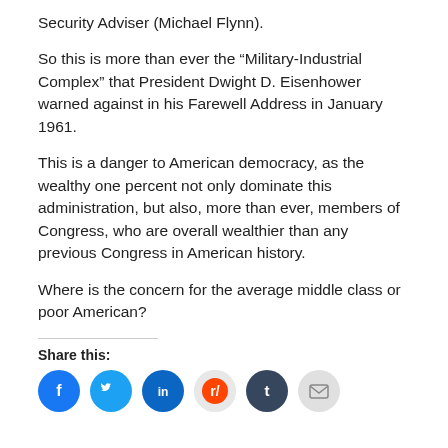Security Adviser (Michael Flynn).
So this is more than ever the “Military-Industrial Complex” that President Dwight D. Eisenhower warned against in his Farewell Address in January 1961.
This is a danger to American democracy, as the wealthy one percent not only dominate this administration, but also, more than ever, members of Congress, who are overall wealthier than any previous Congress in American history.
Where is the concern for the average middle class or poor American?
Share this:
[Figure (infographic): Social share buttons: Facebook (blue circle), Twitter (light blue circle), LinkedIn (dark blue circle), Reddit (light gray circle), Tumblr (dark navy circle), Email (light gray circle)]